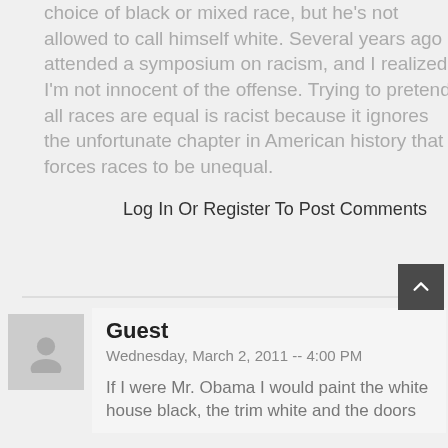choice of black or mixed race, but he's not allowed to call himself white. Several years ago I attended a symposium on racism, and I realized I'm not innocent of the offense. Trying to pretend all races are equal is racist because it ignores the unfortunate chapter in American history that forces races to be unequal.
Log In Or Register To Post Comments
Guest
Wednesday, March 2, 2011 -- 4:00 PM
If I were Mr. Obama I would paint the white house black, the trim white and the doors